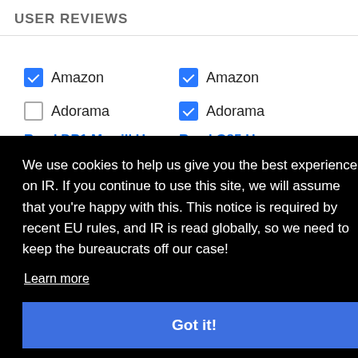USER REVIEWS
Amazon (checked), Adorama (unchecked) — left column; Amazon (checked), Adorama (checked) — right column
Read DP1 Merrill User
Read G85 User
We use cookies to help us give you the best experience on IR. If you continue to use this site, we will assume that you're happy with this. This notice is required by recent EU rules, and IR is read globally, so we need to keep the bureaucrats off our case!
Learn more
Got it!
Buy from Amazon
Click to see price